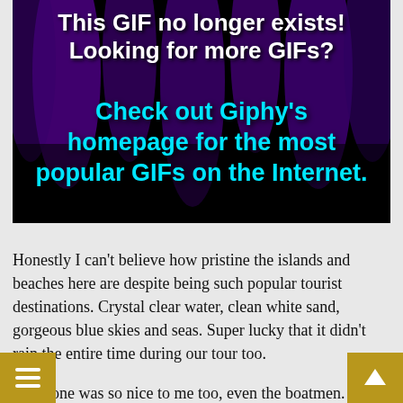[Figure (screenshot): A black background with purple curtain-like shapes. White bold text reads 'This GIF no longer exists! Looking for more GIFs?' and cyan/teal bold text reads 'Check out Giphy's homepage for the most popular GIFs on the Internet.']
Honestly I can't believe how pristine the islands and beaches here are despite being such popular tourist destinations. Crystal clear water, clean white sand, gorgeous blue skies and seas. Super lucky that it didn't rain the entire time during our tour too.
Everyone was so nice to me too, even the boatmen. o got to know a group of friendly Singaporeans who asked me to join them when they went for